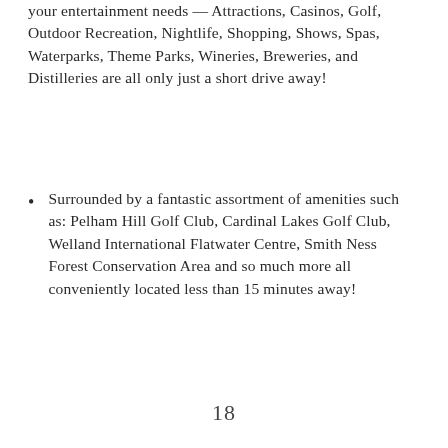your entertainment needs — Attractions, Casinos, Golf, Outdoor Recreation, Nightlife, Shopping, Shows, Spas, Waterparks, Theme Parks, Wineries, Breweries, and Distilleries are all only just a short drive away!
Surrounded by a fantastic assortment of amenities such as: Pelham Hill Golf Club, Cardinal Lakes Golf Club, Welland International Flatwater Centre, Smith Ness Forest Conservation Area and so much more all conveniently located less than 15 minutes away!
18